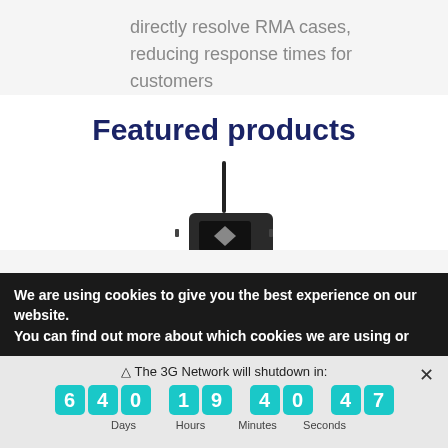directly resolve RMA cases, reducing response times for customers
Featured products
[Figure (photo): Photo of a wireless router/modem device with an antenna, shown on a white background]
We are using cookies to give you the best experience on our website.
You can find out more about which cookies we are using or
⚠ The 3G Network will shutdown in: [countdown] 640 Hours 19 Minutes 40 Seconds 47